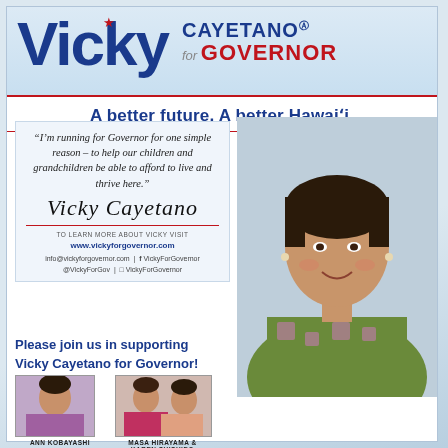Vicky Cayetano® for GOVERNOR
A better future, A better Hawaiʻi.
“I’m running for Governor for one simple reason – to help our children and grandchildren be able to afford to live and thrive here.”
[Figure (illustration): Cursive signature of Vicky Cayetano]
TO LEARN MORE ABOUT VICKY VISIT www.vickyforgovernor.com info@vickyforgovernor.com | VickyForGovernor @VickyForGov | VickyForGovernor
[Figure (photo): Portrait photo of Vicky Cayetano smiling, wearing green patterned dress]
Please join us in supporting Vicky Cayetano for Governor!
[Figure (photo): Photo of Ann Kobayashi]
ANN KOBAYASHI
[Figure (photo): Photo of Masa Hirayama and Karen Shishido]
MASA HIRAYAMA & KAREN SHISHIDO